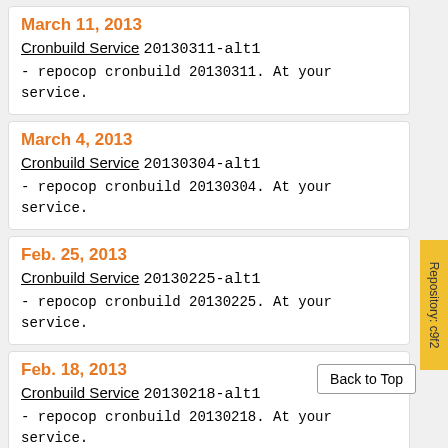March 11, 2013
Cronbuild Service 20130311-alt1
- repocop cronbuild 20130311. At your service.
March 4, 2013
Cronbuild Service 20130304-alt1
- repocop cronbuild 20130304. At your service.
Feb. 25, 2013
Cronbuild Service 20130225-alt1
- repocop cronbuild 20130225. At your service.
Feb. 18, 2013
Cronbuild Service 20130218-alt1
- repocop cronbuild 20130218. At your service.
Feb. 11, 2013
Repository: c9f2
Back to Top